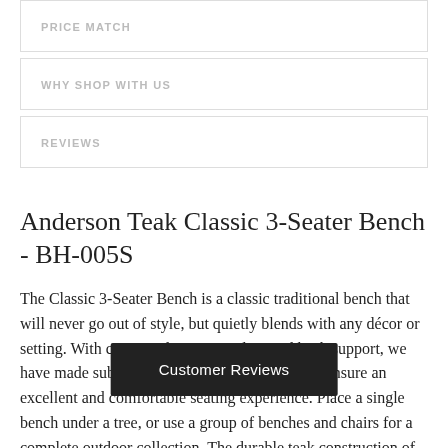PRICE MATCH
WHY SHOP WITH US
REVIEWS
Anderson Teak Classic 3-Seater Bench - BH-005S
The Classic 3-Seater Bench is a classic traditional bench that will never go out of style, but quietly blends with any décor or setting. With contoured seating and curved back support, we have made subtle but careful design changes to ensure an excellent and comfortable seating experience. Place a single bench under a tree, or use a group of benches and chairs for a complete outdoor collection. The durable teak construction of this heavyweight be… constant use, making it ideal t… or any
Customer Reviews